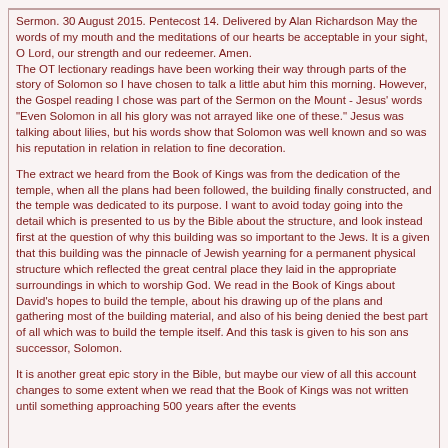Sermon. 30 August 2015. Pentecost 14. Delivered by Alan Richardson May the words of my mouth and the meditations of our hearts be acceptable in your sight, O Lord, our strength and our redeemer. Amen.
The OT lectionary readings have been working their way through parts of the story of Solomon so I have chosen to talk a little abut him this morning. However, the Gospel reading I chose was part of the Sermon on the Mount - Jesus' words "Even Solomon in all his glory was not arrayed like one of these." Jesus was talking about lilies, but his words show that Solomon was well known and so was his reputation in relation in relation to fine decoration.
The extract we heard from the Book of Kings was from the dedication of the temple, when all the plans had been followed, the building finally constructed, and the temple was dedicated to its purpose. I want to avoid today going into the detail which is presented to us by the Bible about the structure, and look instead first at the question of why this building was so important to the Jews. It is a given that this building was the pinnacle of Jewish yearning for a permanent physical structure which reflected the great central place they laid in the appropriate surroundings in which to worship God. We read in the Book of Kings about David's hopes to build the temple, about his drawing up of the plans and gathering most of the building material, and also of his being denied the best part of all which was to build the temple itself. And this task is given to his son ans successor, Solomon.
It is another great epic story in the Bible, but maybe our view of all this account changes to some extent when we read that the Book of Kings was not written until something approaching 500 years after the events...